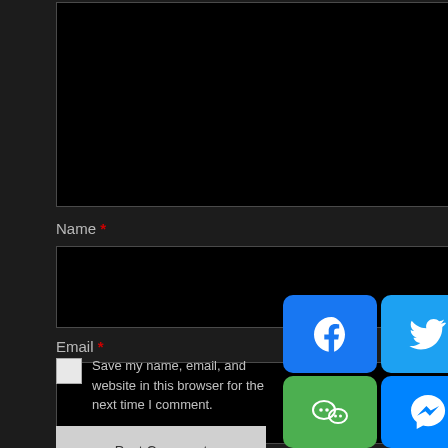[Figure (screenshot): Web comment form on dark background with textarea, Name, Email, Website fields, a checkbox for saving info, Post Comment button, and a social sharing widget showing Facebook, Twitter, Email, WhatsApp, Reddit, WeChat, Messenger, Copy Link, and Share More buttons.]